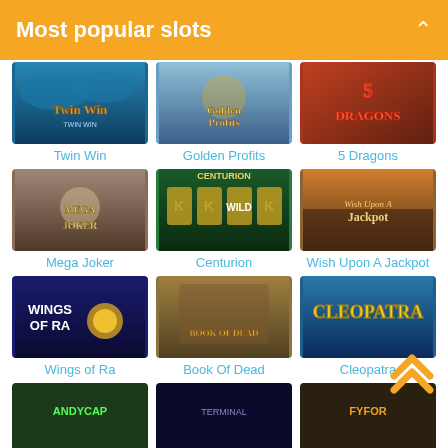Most popular slots
[Figure (screenshot): Twin Win slot game thumbnail - blue ocean/dolphin themed]
Twin Win
[Figure (screenshot): Golden Profits slot game thumbnail - woman with golden theme]
Golden Profits
[Figure (screenshot): 5 Dragons slot game thumbnail - red dragon themed]
5 Dragons
[Figure (screenshot): Mega Joker slot game thumbnail - joker character]
Mega Joker
[Figure (screenshot): Centurion slot game thumbnail - Roman centurion themed]
Centurion
[Figure (screenshot): Wish Upon A Jackpot slot game thumbnail - forest/nature themed]
Wish Upon A Jackpot
[Figure (screenshot): Wings of Ra slot game thumbnail - Egyptian themed, dark blue]
Wings of Ra
[Figure (screenshot): Book Of Dead slot game thumbnail - explorer character]
Book Of Dead
[Figure (screenshot): Cleopatra slot game thumbnail - Egyptian queen themed]
Cleopatra
[Figure (screenshot): Bottom row slot 1 thumbnail - partially visible]
[Figure (screenshot): Bottom row slot 2 thumbnail - partially visible]
[Figure (screenshot): Bottom row slot 3 thumbnail - partially visible]